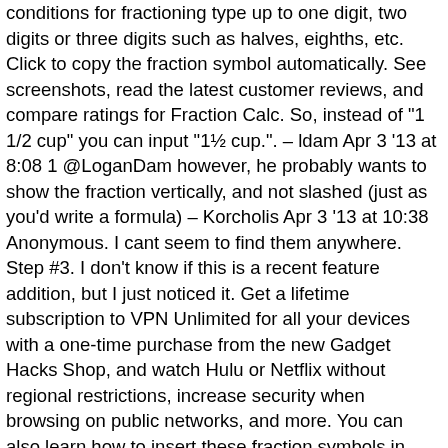conditions for fractioning type up to one digit, two digits or three digits such as halves, eighths, etc. Click to copy the fraction symbol automatically. See screenshots, read the latest customer reviews, and compare ratings for Fraction Calc. So, instead of "1 1/2 cup" you can input "1½ cup.". – ldam Apr 3 '13 at 8:08 1 @LoganDam however, he probably wants to show the fraction vertically, and not slashed (just as you'd write a formula) – Korcholis Apr 3 '13 at 10:38 Anonymous. I cant seem to find them anywhere. Step #3. I don't know if this is a recent feature addition, but I just noticed it. Get a lifetime subscription to VPN Unlimited for all your devices with a one-time purchase from the new Gadget Hacks Shop, and watch Hulu or Netflix without regional restrictions, increase security when browsing on public networks, and more. You can also learn how to insert these fraction symbols in word and how to insert them in your phone. Vous suivez désormais les articles en lien avec ce sujet. The calculator has all the features of a regular basic scientific calculator with few more like fraction calculator. The setting applies to text you type from now on—it doesn't change fractions you've already typed. Then, you can press the 1/x button to put that number in the denominator (the numerator will be 1), and get your fraction value. Drag your touch to select the desired unique character. But what is